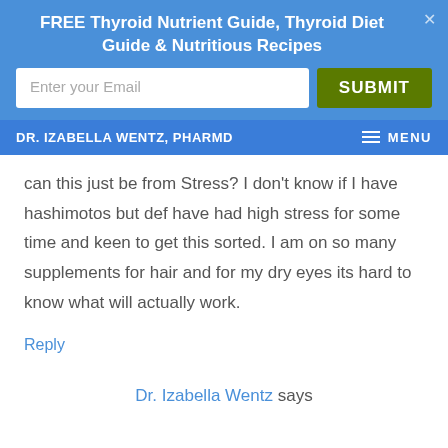FREE Thyroid Nutrient Guide, Thyroid Diet Guide & Nutritious Recipes
DR. IZABELLA WENTZ, PHARMD   MENU
can this just be from Stress? I don't know if I have hashimotos but def have had high stress for some time and keen to get this sorted. I am on so many supplements for hair and for my dry eyes its hard to know what will actually work.
Reply
Dr. Izabella Wentz says